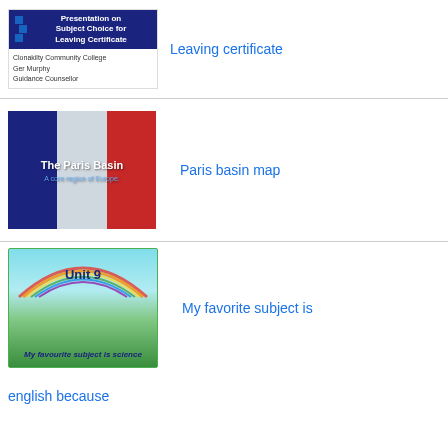[Figure (screenshot): Thumbnail of a presentation slide titled 'Presentation on Subject Choice for Leaving Certificate' by Clonakilty Community College, Ger Murphy, Guidance Counsellor]
Leaving certificate
[Figure (photo): French tricolor flag thumbnail with text 'The Paris Basin' and subtitle 'A core region of Europe']
Paris basin map
[Figure (screenshot): Colorful educational slide with rainbow and green hills, titled 'Unit 9', subtitle 'My favourite subject is science']
My favorite subject is
english because